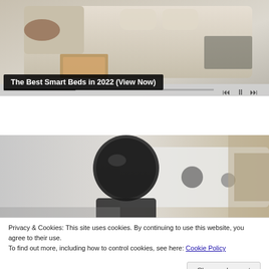[Figure (photo): Smart bed with built-in drawers and leather upholstery, shown from above/angle. Media player controls visible at bottom of image area with a progress bar.]
The Best Smart Beds in 2022 (View Now)
[Figure (photo): Person in dark clothing near a white vehicle/trailer, outdoor scene with trees and brush in background.]
Privacy & Cookies: This site uses cookies. By continuing to use this website, you agree to their use.
To find out more, including how to control cookies, see here: Cookie Policy
Close and accept
[Figure (photo): Bottom strip showing a partial image of a person outdoors with greenery.]